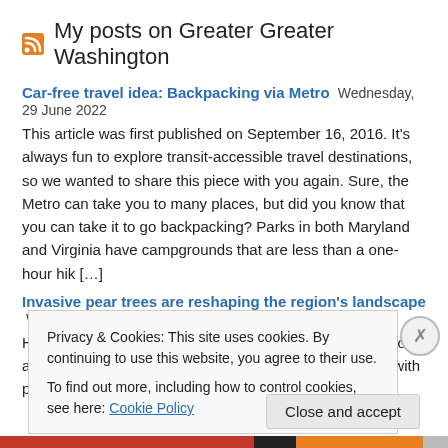My posts on Greater Greater Washington
Car-free travel idea: Backpacking via Metro Wednesday, 29 June 2022
This article was first published on September 16, 2016. It's always fun to explore transit-accessible travel destinations, so we wanted to share this piece with you again. Sure, the Metro can take you to many places, but did you know that you can take it to go backpacking? Parks in both Maryland and Virginia have campgrounds that are less than a one-hour hik [...]
Invasive pear trees are reshaping the region's landscape Wednesday, 6 April 2022
Hot on the heels of the Tidal Basin cherry trees' peak bloom, a more widespread blossoming is lining DC's roadsides with puffy white blooms.
Privacy & Cookies: This site uses cookies. By continuing to use this website, you agree to their use.
To find out more, including how to control cookies, see here: Cookie Policy
Close and accept